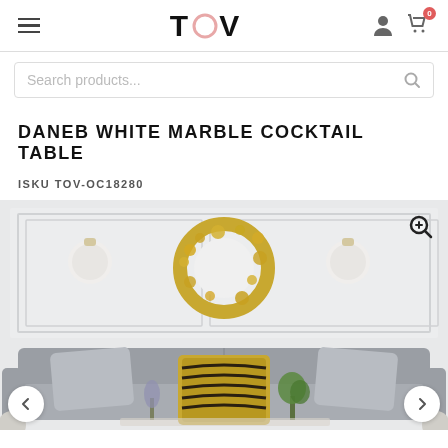TOV
Search products...
DANEB WHITE MARBLE COCKTAIL TABLE
ISKU TOV-OC18280
[Figure (photo): Product lifestyle photo showing a gray sofa with gold zebra-print and gray pillows, green plants and lavender on a coffee table, against a white paneled wall with a gold leaf circular mirror and round white sconce lights.]